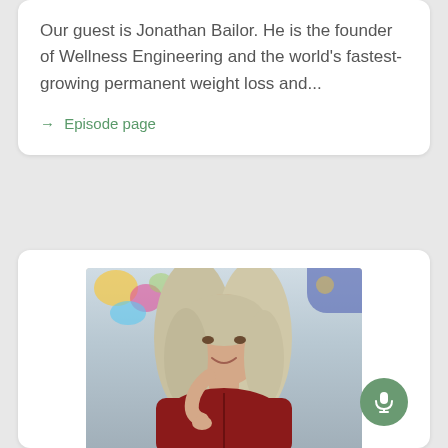Our guest is Jonathan Bailor. He is the founder of Wellness Engineering and the world's fastest-growing permanent weight loss and...
→ Episode page
[Figure (photo): A smiling woman with long gray-blonde hair wearing a red zip-up fleece, resting her chin on her hand, photographed in a bright colorful studio or home environment with blurred background artwork visible.]